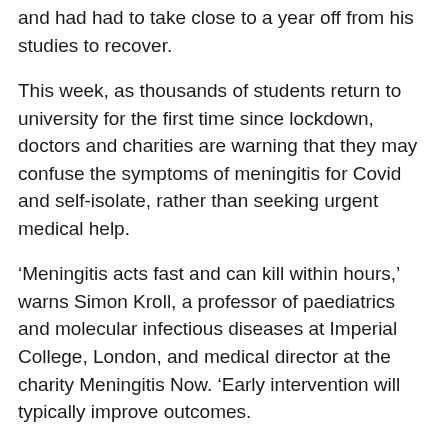and had had to take close to a year off from his studies to recover.
This week, as thousands of students return to university for the first time since lockdown, doctors and charities are warning that they may confuse the symptoms of meningitis for Covid and self-isolate, rather than seeking urgent medical help.
‘Meningitis acts fast and can kill within hours,’ warns Simon Kroll, a professor of paediatrics and molecular infectious diseases at Imperial College, London, and medical director at the charity Meningitis Now. ‘Early intervention will typically improve outcomes.
‘While self-isolation is right for Covid-19, to lock yourself away from others if there is a suspicion it could be something like MenB could be disastrous.